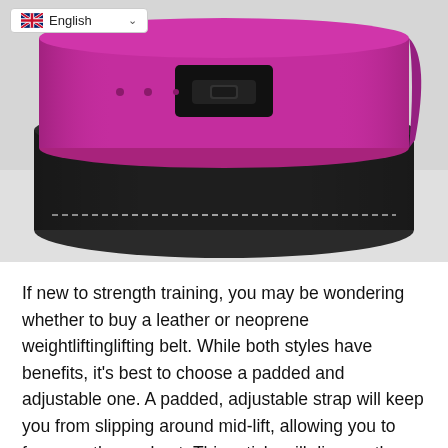[Figure (photo): Photo of two weightlifting belts stacked together — a pink/magenta leather belt with a black lever buckle on top, and a black leather belt with white stitching on the bottom. A language selector showing 'English' with a UK flag is overlaid in the top-left corner of the image.]
If new to strength training, you may be wondering whether to buy a leather or neoprene weightliftinglifting belt. While both styles have benefits, it's best to choose a padded and adjustable one. A padded, adjustable strap will keep you from slipping around mid-lift, allowing you to focus on the workout. This article will discuss the benefits of each style